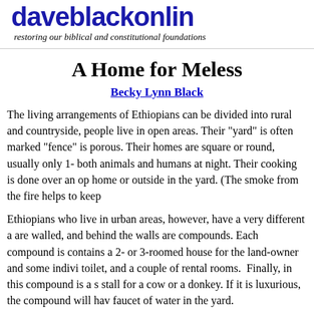daveblackonline
restoring our biblical and constitutional foundations
A Home for Meless
Becky Lynn Black
The living arrangements of Ethiopians can be divided into rural and countryside, people live in open areas. Their "yard" is often marked "fence" is porous. Their homes are square or round, usually only 1- both animals and humans at night. Their cooking is done over an op home or outside in the yard. (The smoke from the fire helps to keep
Ethiopians who live in urban areas, however, have a very different a are walled, and behind the walls are compounds. Each compound is contains a 2- or 3-roomed house for the land-owner and some indivi toilet, and a couple of rental rooms.  Finally, in this compound is a s stall for a cow or a donkey. If it is luxurious, the compound will hav faucet of water in the yard.
Thievery abounds in most Ethiopian communities. In the rural area dog that stays outside at night. In the urban areas, the gate is locked hired for protection.